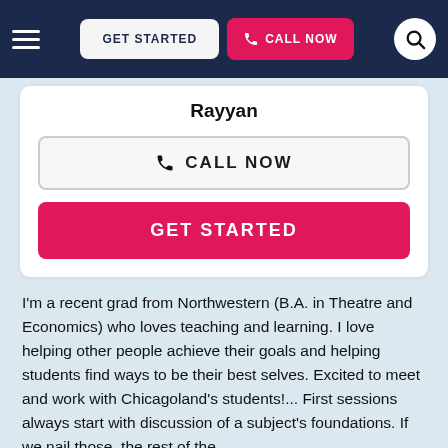GET STARTED | CALL NOW
Rayyan
CALL NOW
GET STARTED
I'm a recent grad from Northwestern (B.A. in Theatre and Economics) who loves teaching and learning. I love helping other people achieve their goals and helping students find ways to be their best selves. Excited to meet and work with Chicagoland's students!... First sessions always start with discussion of a subject's foundations. If we nail those, the rest of the